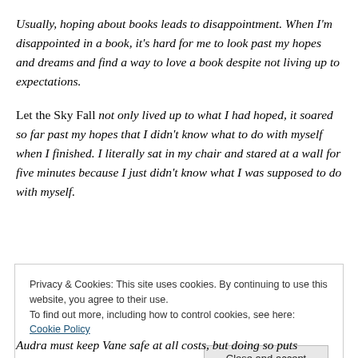Usually, hoping about books leads to disappointment. When I'm disappointed in a book, it's hard for me to look past my hopes and dreams and find a way to love a book despite not living up to expectations.
Let the Sky Fall not only lived up to what I had hoped, it soared so far past my hopes that I didn't know what to do with myself when I finished. I literally sat in my chair and stared at a wall for five minutes because I just didn't know what I was supposed to do with myself.
Privacy & Cookies: This site uses cookies. By continuing to use this website, you agree to their use. To find out more, including how to control cookies, see here: Cookie Policy
Close and accept
Audra must keep Vane safe at all costs, but doing so puts